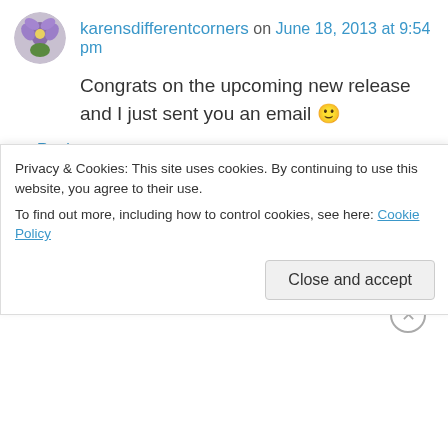karensdifferentcorners on June 18, 2013 at 9:54 pm
Congrats on the upcoming new release and I just sent you an email 🙂
↪ Reply
journeyofjordannaeast on June 18, 2013 at 10:04 pm
Thank you! I just saw it and will send you
Privacy & Cookies: This site uses cookies. By continuing to use this website, you agree to their use. To find out more, including how to control cookies, see here: Cookie Policy
Close and accept